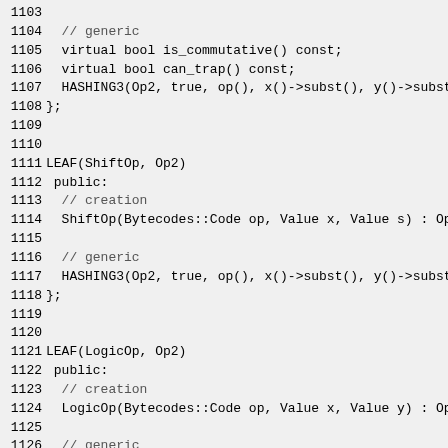1103
1104   // generic
1105   virtual bool is_commutative() const;
1106   virtual bool can_trap() const;
1107   HASHING3(Op2, true, op(), x()->subst(), y()->subst
1108 };
1109
1110
1111 LEAF(ShiftOp, Op2)
1112  public:
1113   // creation
1114   ShiftOp(Bytecodes::Code op, Value x, Value s) : Op
1115
1116   // generic
1117   HASHING3(Op2, true, op(), x()->subst(), y()->subst
1118 };
1119
1120
1121 LEAF(LogicOp, Op2)
1122  public:
1123   // creation
1124   LogicOp(Bytecodes::Code op, Value x, Value y) : Op
1125
1126   // generic
1127   virtual bool is_commutative() const;
1128   HASHING3(Op2, true, op(), x()->subst(), y()->subst
1129 };
1130
1131
1132 LEAF(CompareOp, Op2)
1133  public: